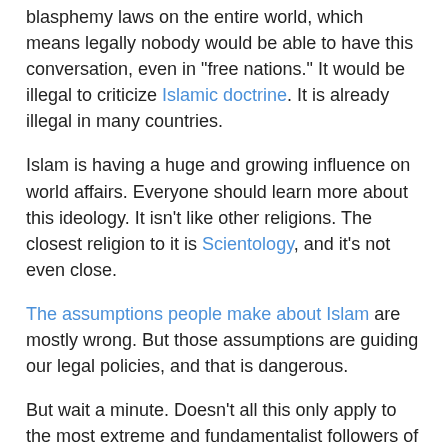blasphemy laws on the entire world, which means legally nobody would be able to have this conversation, even in "free nations." It would be illegal to criticize Islamic doctrine. It is already illegal in many countries.
Islam is having a huge and growing influence on world affairs. Everyone should learn more about this ideology. It isn't like other religions. The closest religion to it is Scientology, and it's not even close.
The assumptions people make about Islam are mostly wrong. But those assumptions are guiding our legal policies, and that is dangerous.
But wait a minute. Doesn't all this only apply to the most extreme and fundamentalist followers of Islam? Wouldn't the views of extreme and fundamentalist Christians be just as disturbing? It isn't fair to paint all Muslims with this same brush, is it? We could say all Scientologists are bad people, but that isn't the case either.
First of all, we're not talking about Muslims. We're talking